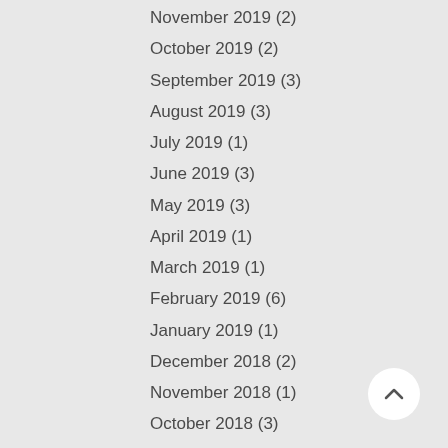November 2019 (2)
October 2019 (2)
September 2019 (3)
August 2019 (3)
July 2019 (1)
June 2019 (3)
May 2019 (3)
April 2019 (1)
March 2019 (1)
February 2019 (6)
January 2019 (1)
December 2018 (2)
November 2018 (1)
October 2018 (3)
September 2018 (2)
August 2018 (5)
July 2018 (1)
May 2018 (4)
April 2018 (3)
February 2018 (2)